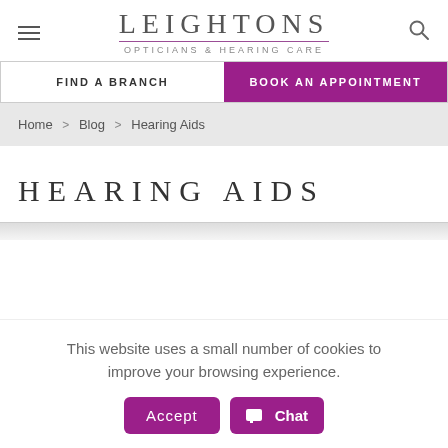LEIGHTONS OPTICIANS & HEARING CARE
FIND A BRANCH | BOOK AN APPOINTMENT
Home > Blog > Hearing Aids
HEARING AIDS
This website uses a small number of cookies to improve your browsing experience.
Accept  Chat